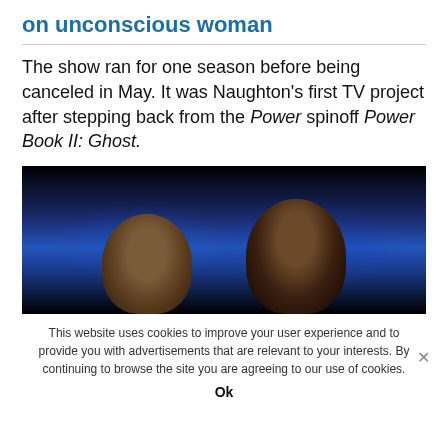on unconscious woman
The show ran for one season before being canceled in May. It was Naughton’s first TV project after stepping back from the Power spinoff Power Book II: Ghost.
[Figure (photo): Photo of two women against a blue-lit dark background, likely at an entertainment event.]
This website uses cookies to improve your user experience and to provide you with advertisements that are relevant to your interests. By continuing to browse the site you are agreeing to our use of cookies.
Ok